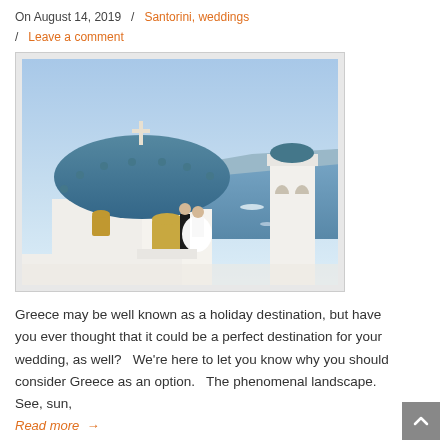On August 14, 2019  /  Santorini, weddings  /  Leave a comment
[Figure (photo): Wedding couple standing on a rooftop terrace of a blue-domed church in Santorini, Greece, with the caldera and sea in the background.]
Greece may be well known as a holiday destination, but have you ever thought that it could be a perfect destination for your wedding, as well?   We’re here to let you know why you should consider Greece as an option.   The phenomenal landscape.  See, sun,
Read more  →